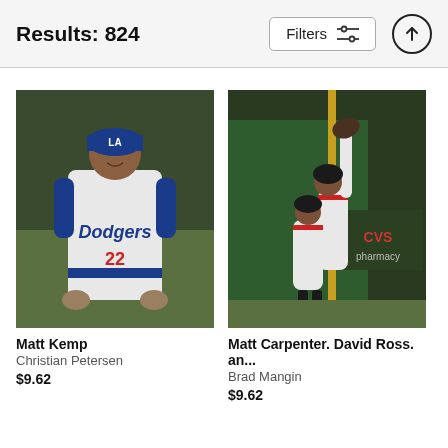Results: 824
[Figure (photo): Matt Kemp in Dodgers uniform #22, smiling on the baseball field]
Matt Kemp
Christian Petersen
$9.62
[Figure (photo): Matt Carpenter and David Ross celebrating on the baseball field, Red Sox uniforms, reaching up]
Matt Carpenter. David Ross. an...
Brad Mangin
$9.62